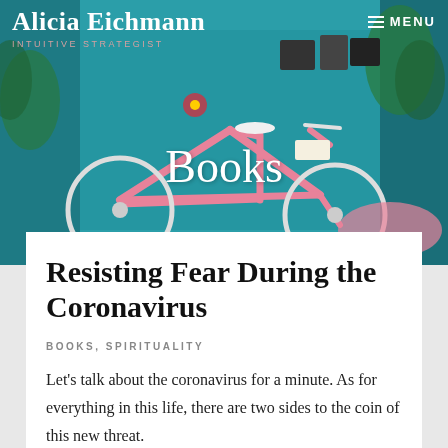Alicia Eichmann INTUITIVE STRATEGIST
[Figure (photo): Hero image of a pink bicycle against a teal/cyan painted wall with plants and artwork, used as a decorative page header background.]
Books
Resisting Fear During the Coronavirus
BOOKS, SPIRITUALITY
Let's talk about the coronavirus for a minute. As for everything in this life, there are two sides to the coin of this new threat.